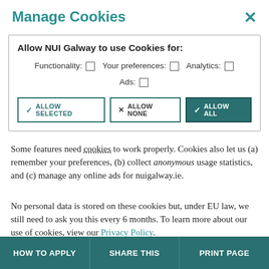Manage Cookies
[Figure (screenshot): Cookie consent dialog box with checkboxes for Functionality, Your preferences, Analytics, Ads, and three buttons: ALLOW SELECTED, ALLOW NONE, ALLOW ALL]
Some features need cookies to work properly. Cookies also let us (a) remember your preferences, (b) collect anonymous usage statistics, and (c) manage any online ads for nuigalway.ie.
No personal data is stored on these cookies but, under EU law, we still need to ask you this every 6 months. To learn more about our use of cookies, view our Privacy Policy.
HOW TO APPLY   SHARE THIS   PRINT PAGE